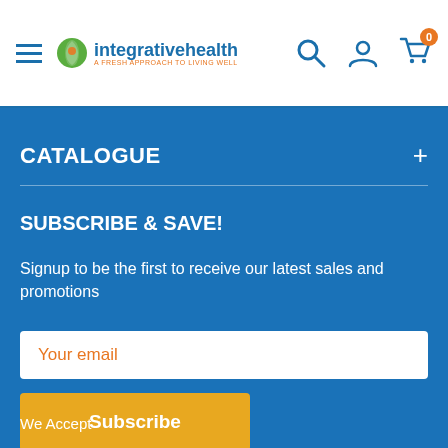integrativehealth — A Fresh Approach to Living Well
CATALOGUE
SUBSCRIBE & SAVE!
Signup to be the first to receive our latest sales and promotions
Your email
Subscribe
We Accept